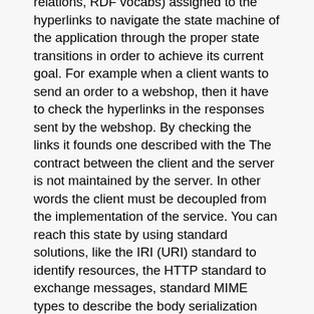relations, RDF vocabs) assigned to the hyperlinks to navigate the state machine of the application through the proper state transitions in order to achieve its current goal. For example when a client wants to send an order to a webshop, then it have to check the hyperlinks in the responses sent by the webshop. By checking the links it founds one described with the The contract between the client and the server is not maintained by the server. In other words the client must be decoupled from the implementation of the service. You can reach this state by using standard solutions, like the IRI (URI) standard to identify resources, the HTTP standard to exchange messages, standard MIME types to describe the body serialization format, metadata (possibly RDF vocabs, microformats, etc.) to describe the semantics of different parts of the message body. To decouple the IRI structure from the client, you have to send hyperlinks to the clients in hypermedia formats like (HTML, JSON-LD, HAL, etc.). So a client can use the metadata (possibly link relations, RDF vocabs) assigned to the hyperlinks to navigate the state